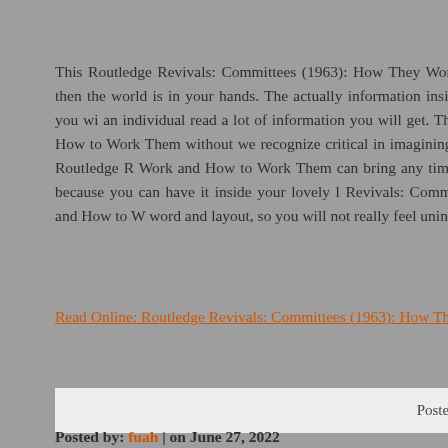This Routledge Revivals: Committees (1963): How They Work a ordinary book, you have it then the world is in your hands. The actually information inside this reserve incredible fresh, you wi an individual read a lot of information you will get. This kind of How They Work and How to Work Them without we recognize critical in imagining and analyzing. Don’t be worry Routledge R Work and How to Work Them can bring any time you are and n grow to be full because you can have it inside your lovely l Revivals: Committees (1963): How They Work and How to W word and layout, so you will not really feel uninterested in readin
Read Online: Routledge Revivals: Committees (1963): How The
Posted in Business And Management
Posted by: fuah | on June 27, 2022